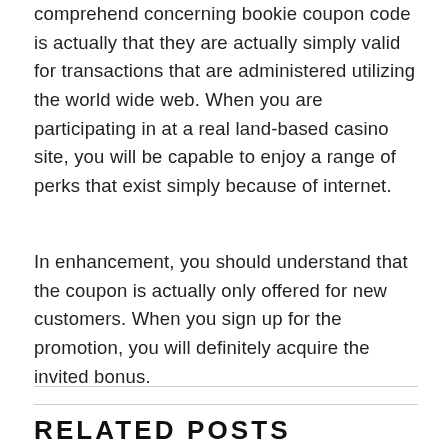comprehend concerning bookie coupon code is actually that they are actually simply valid for transactions that are administered utilizing the world wide web. When you are participating in at a real land-based casino site, you will be capable to enjoy a range of perks that exist simply because of internet.
In enhancement, you should understand that the coupon is actually only offered for new customers. When you sign up for the promotion, you will definitely acquire the invited bonus.
RELATED POSTS